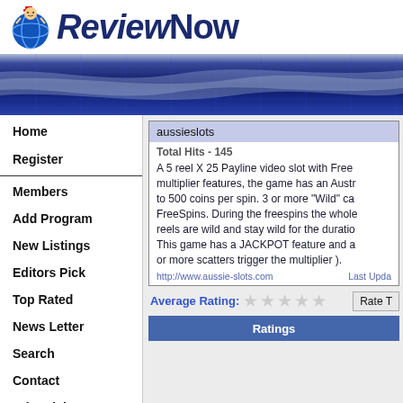[Figure (logo): ReviewNow logo with cartoon character mascot and globe icon]
[Figure (illustration): Blue metallic banner with grid/wave pattern]
Home
Register
Members
Add Program
New Listings
Editors Pick
Top Rated
News Letter
Search
Contact
Advertising
Privacy Polic...
aussieslots
Total Hits - 145
A 5 reel X 25 Payline video slot with Free multiplier features, the game has an Austr to 500 coins per spin. 3 or more "Wild" ca FreeSpins. During the freespins the whole reels are wild and stay wild for the duratio This game has a JACKPOT feature and a or more scatters trigger the multiplier ).
http://www.aussie-slots.com   Last Upda
Average Rating:
Rate T
Ratings